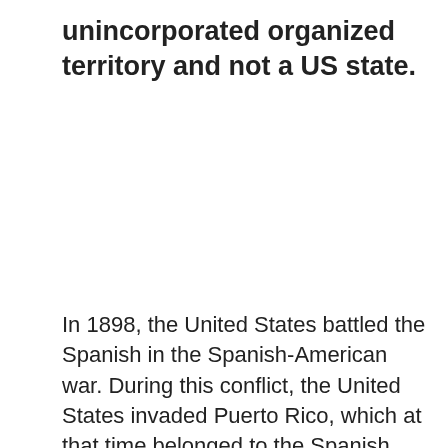unincorporated organized territory and not a US state.
In 1898, the United States battled the Spanish in the Spanish-American war. During this conflict, the United States invaded Puerto Rico, which at that time belonged to the Spanish Empire.
After the war ended, Spain ceded Puerto
[Figure (other): Advertisement for Meadows Farms Nursery with logo, title 'Meadows Farms Nursery', subtitle 'Meadows Farms Nurseries ...' and a blue directional arrow icon. Play and close controls shown below.]